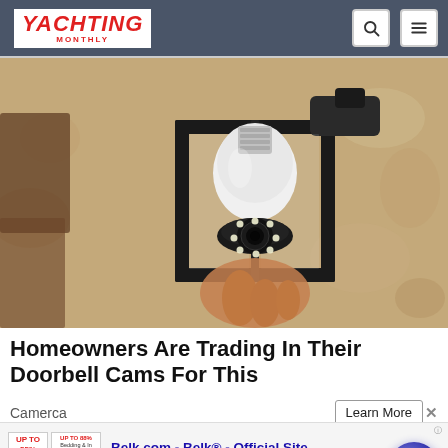YACHTING MONTHLY
[Figure (photo): A person installing or handling a white smart security bulb camera inside a black lantern-style outdoor wall light fixture, against a textured stucco wall background.]
Homeowners Are Trading In Their Doorbell Cams For This
Camerca
[Figure (infographic): Advertisement banner for Belk.com - Belk Official Site. Shows small product thumbnails, text 'Shop for clothing, handbags, jewelry, beauty, home & more!' and URL www.belk.com, with a circular purple arrow button on the right.]